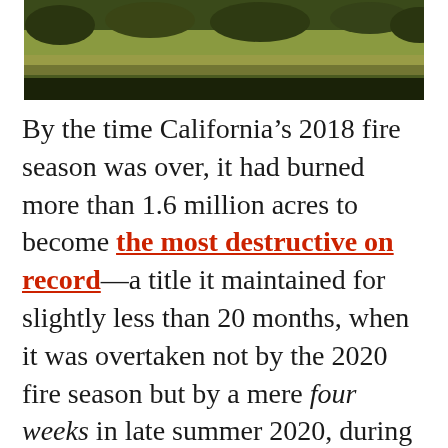[Figure (photo): Landscape photo showing vegetation and trees with golden/green tones, cropped at the top of the page.]
By the time California’s 2018 fire season was over, it had burned more than 1.6 million acres to become the most destructive on record—a title it maintained for slightly less than 20 months, when it was overtaken not by the 2020 fire season but by a mere four weeks in late summer 2020, during which an estimated 3 million acres burned. But that’s not the truly worrisome part. In making sense of Western wildfires, total acres burned are far less important than